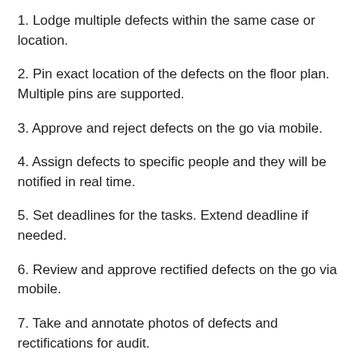1. Lodge multiple defects within the same case or location.
2. Pin exact location of the defects on the floor plan. Multiple pins are supported.
3. Approve and reject defects on the go via mobile.
4. Assign defects to specific people and they will be notified in real time.
5. Set deadlines for the tasks. Extend deadline if needed.
6. Review and approve rectified defects on the go via mobile.
7. Take and annotate photos of defects and rectifications for audit.
8. Back charge your contractors for defects not rectified.